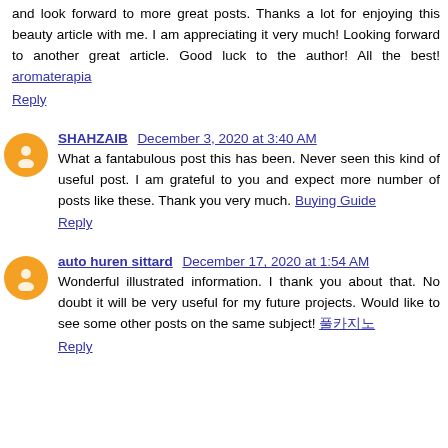and look forward to more great posts. Thanks a lot for enjoying this beauty article with me. I am appreciating it very much! Looking forward to another great article. Good luck to the author! All the best! aromaterapia
Reply
SHAHZAIB December 3, 2020 at 3:40 AM
What a fantabulous post this has been. Never seen this kind of useful post. I am grateful to you and expect more number of posts like these. Thank you very much. Buying Guide
Reply
auto huren sittard December 17, 2020 at 1:54 AM
Wonderful illustrated information. I thank you about that. No doubt it will be very useful for my future projects. Would like to see some other posts on the same subject! 풀카지노
Reply